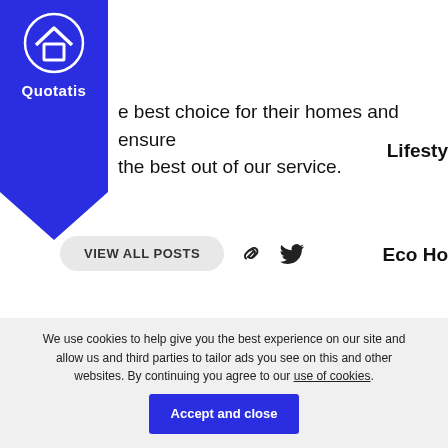[Figure (logo): Quotatis logo: blue pentagon-shaped badge with house icon and the word Quotatis in white]
e best choice for their homes and ensure the best out of our service.
Lifesty
VIEW ALL POSTS
Eco Ho
Smart
You may also like
Acces
[Figure (photo): Article card with dark background suggesting an air conditioning unit with diagonal texture, labelled INFORMATION, title: How Much Energy does Air Conditioning Use?]
We use cookies to help give you the best experience on our site and allow us and third parties to tailor ads you see on this and other websites. By continuing you agree to our use of cookies.
Accept and close